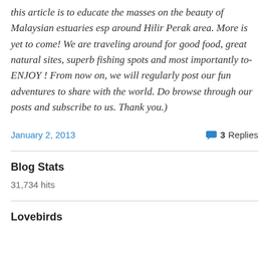this article is to educate the masses on the beauty of Malaysian estuaries esp around Hilir Perak area. More is yet to come! We are traveling around for good food, great natural sites, superb fishing spots and most importantly to-ENJOY ! From now on, we will regularly post our fun adventures to share with the world. Do browse through our posts and subscribe to us. Thank you.)
January 2, 2013
3 Replies
Blog Stats
31,734 hits
Lovebirds